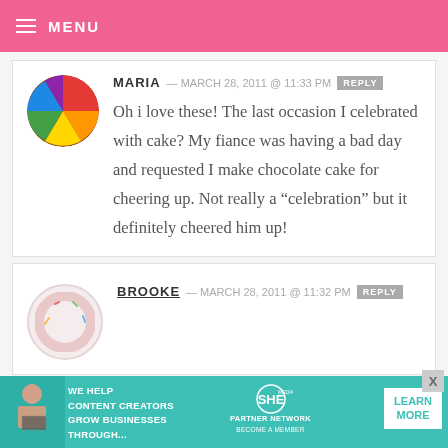MENU
MARIA — MARCH 28, 2011 @ 11:33 PM  REPLY
Oh i love these! The last occasion I celebrated with cake? My fiance was having a bad day and requested I make chocolate cake for cheering up. Not really a “celebration” but it definitely cheered him up!
BROOKE — MARCH 28, 2011 @ 11:32 PM  REPLY
[Figure (infographic): Advertisement banner: teal background, woman with laptop, text WE HELP CONTENT CREATORS GROW BUSINESSES THROUGH..., SHE Media Partner Network logo, LEARN MORE button]